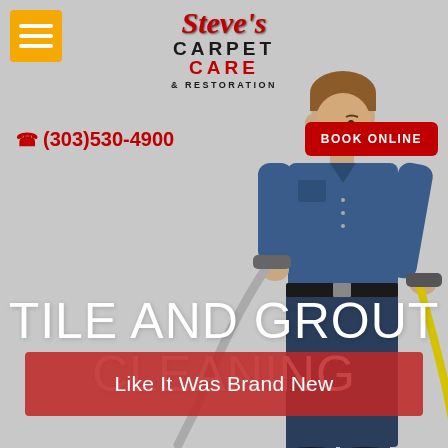[Figure (logo): Steve's Carpet Care & Restoration logo with stylized script and bold text]
[Figure (illustration): Illustration of a man in blue shirt and pants using a carpet/tile cleaning wand with yellow hose]
(303)530-4900
BOOK ONLINE
TILE AND GROUT CLEANING
Like It Was Brand New